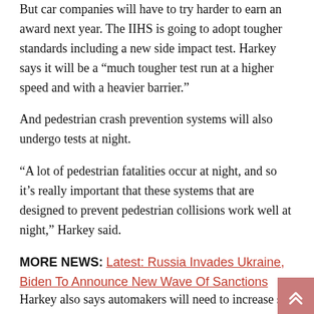But car companies will have to try harder to earn an award next year. The IIHS is going to adopt tougher standards including a new side impact test. Harkey says it will be a “much tougher test run at a higher speed and with a heavier barrier.”
And pedestrian crash prevention systems will also undergo tests at night.
“A lot of pedestrian fatalities occur at night, and so it’s really important that these systems that are designed to prevent pedestrian collisions work well at night,” Harkey said.
MORE NEWS: Latest: Russia Invades Ukraine, Biden To Announce New Wave Of Sanctions
Harkey also says automakers will need to increase safety of t...